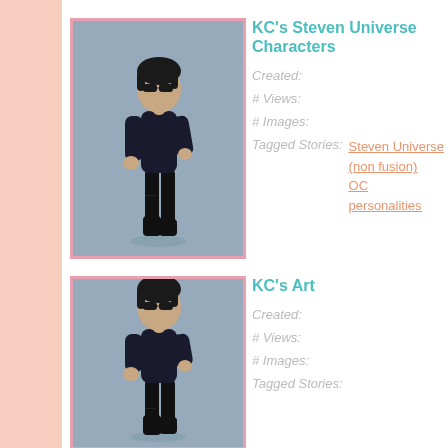[Figure (illustration): Animated character wearing black outfit and sunglasses, standing pose, pink border frame, blue-gray background]
KC's Steven Universe Characters
Created:
# Views:
# Images:
Tagged Stories:
Steven Universe (non fusion)
OC
personalities
[Figure (illustration): Animated character wearing black outfit and sunglasses, standing pose, pink border frame, blue-gray background]
KC's Art
Created:
# Views:
# Images:
Tagged Stories: